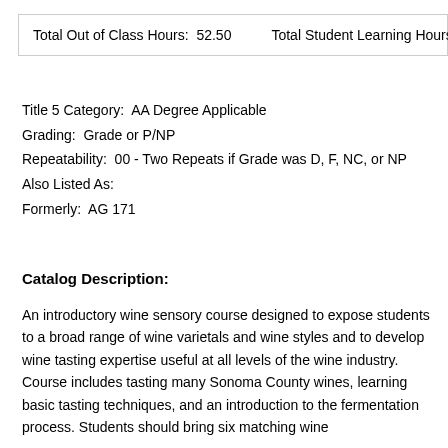| Total Out of Class Hours:  52.50 | Total Student Learning Hours |
Title 5 Category:  AA Degree Applicable
Grading:  Grade or P/NP
Repeatability:  00 - Two Repeats if Grade was D, F, NC, or NP
Also Listed As:
Formerly:  AG 171
Catalog Description:
An introductory wine sensory course designed to expose students to a broad range of wine varietals and wine styles and to develop wine tasting expertise useful at all levels of the wine industry. Course includes tasting many Sonoma County wines, learning basic tasting techniques, and an introduction to the fermentation process. Students should bring six matching wine